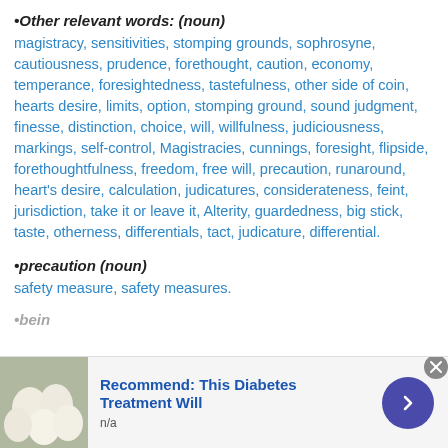•Other relevant words: (noun)
magistracy, sensitivities, stomping grounds, sophrosyne, cautiousness, prudence, forethought, caution, economy, temperance, foresightedness, tastefulness, other side of coin, hearts desire, limits, option, stomping ground, sound judgment, finesse, distinction, choice, will, willfulness, judiciousness, markings, self-control, Magistracies, cunnings, foresight, flipside, forethoughtfulness, freedom, free will, precaution, runaround, heart's desire, calculation, judicatures, considerateness, feint, jurisdiction, take it or leave it, Alterity, guardedness, big stick, taste, otherness, differentials, tact, judicature, differential.
•precaution (noun)
safety measure, safety measures.
[Figure (other): Advertisement banner: image of white eggs/onions on the left, text 'Recommend: This Diabetes Treatment Will' in blue bold, 'n/a' in gray below, purple circular arrow button on the right, close X button top right.]